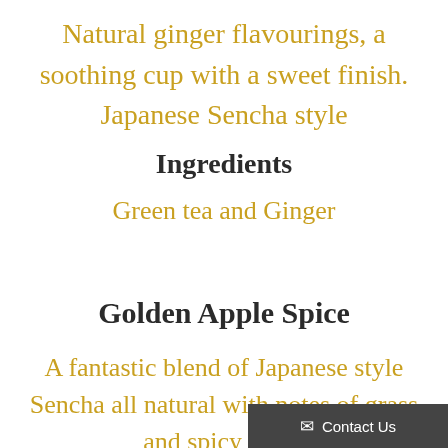Natural ginger flavourings, a soothing cup with a sweet finish.  Japanese Sencha style
Ingredients
Green tea and Ginger
Golden Apple Spice
A fantastic blend of Japanese style Sencha all natural with notes of grass and spicy apple